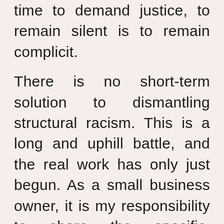time to demand justice, to remain silent is to remain complicit.
There is no short-term solution to dismantling structural racism. This is a long and uphill battle, and the real work has only just begun. As a small business owner, it is my responsibility to share the specific, meaningful action that I am taking.
-I am committed to using my platform to promote the Black community and to amplify their voices.